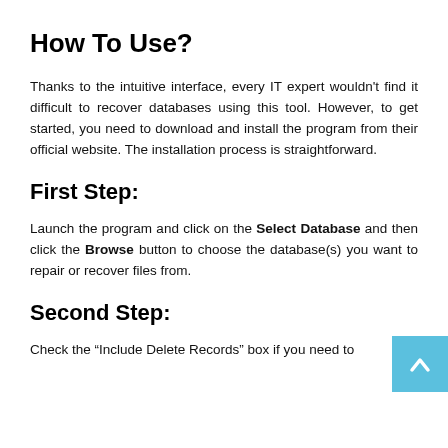How To Use?
Thanks to the intuitive interface, every IT expert wouldn't find it difficult to recover databases using this tool. However, to get started, you need to download and install the program from their official website. The installation process is straightforward.
First Step:
Launch the program and click on the Select Database and then click the Browse button to choose the database(s) you want to repair or recover files from.
Second Step:
Check the “Include Delete Records” box if you need to